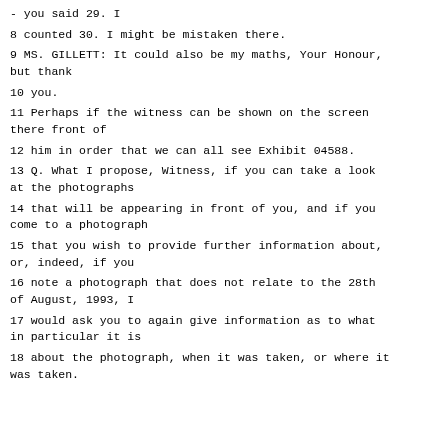- you said 29. I
8 counted 30. I might be mistaken there.
9 MS. GILLETT: It could also be my maths, Your Honour, but thank
10 you.
11 Perhaps if the witness can be shown on the screen there front of
12 him in order that we can all see Exhibit 04588.
13 Q. What I propose, Witness, if you can take a look at the photographs
14 that will be appearing in front of you, and if you come to a photograph
15 that you wish to provide further information about, or, indeed, if you
16 note a photograph that does not relate to the 28th of August, 1993, I
17 would ask you to again give information as to what in particular it is
18 about the photograph, when it was taken, or where it was taken.